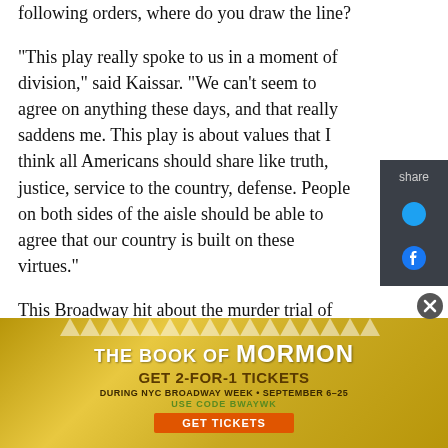following orders, where do you draw the line?
"This play really spoke to us in a moment of division," said Kaissar. "We can't seem to agree on anything these days, and that really saddens me. This play is about values that I think all Americans should share like truth, justice, service to the country, defense. People on both sides of the aisle should be able to agree that our country is built on these virtues."
This Broadway hit about the murder trial of two Marines at Guantanamo Bay sizzles on stage. The assigned Navy lawyer, a privileged young man more interested in playing softball than working on the case, expects an easy plea bargain. The lone woman
[Figure (advertisement): Advertisement for 'The Book of Mormon' Broadway show. Get 2-for-1 tickets during NYC Broadway Week, September 6-25. Use code BWAYWK. Get Tickets button.]